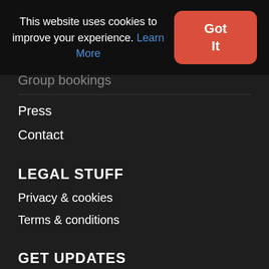This website uses cookies to improve your experience. Learn More
Got It
FAQs
Group bookings
Press
Contact
LEGAL STUFF
Privacy & cookies
Terms & conditions
GET UPDATES
Join the mailing list